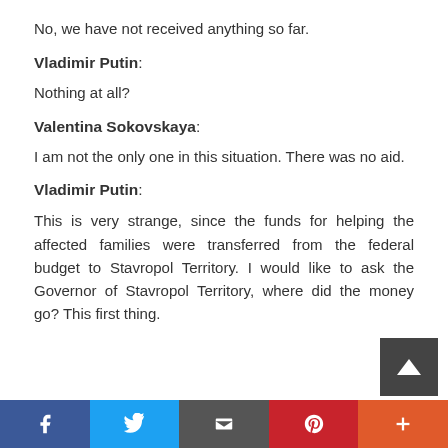No, we have not received anything so far.
Vladimir Putin:
Nothing at all?
Valentina Sokovskaya:
I am not the only one in this situation. There was no aid.
Vladimir Putin:
This is very strange, since the funds for helping the affected families were transferred from the federal budget to Stavropol Territory. I would like to ask the Governor of Stavropol Territory, where did the money go? This first thing.